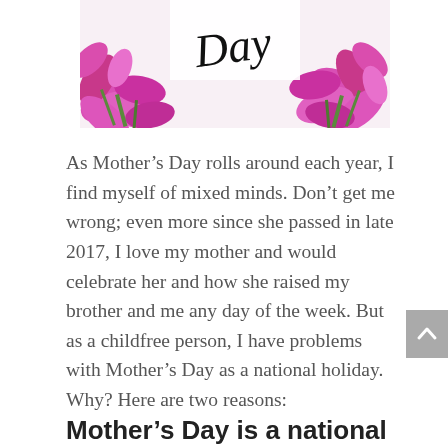[Figure (photo): Decorative image showing pink/magenta flowers with 'Day' in cursive script on a white background — partial view of a Mother's Day image]
As Mother's Day rolls around each year, I find myself of mixed minds. Don't get me wrong; even more since she passed in late 2017, I love my mother and would celebrate her and how she raised my brother and me any day of the week. But as a childfree person, I have problems with Mother's Day as a national holiday. Why? Here are two reasons:
Mother's Day is a national